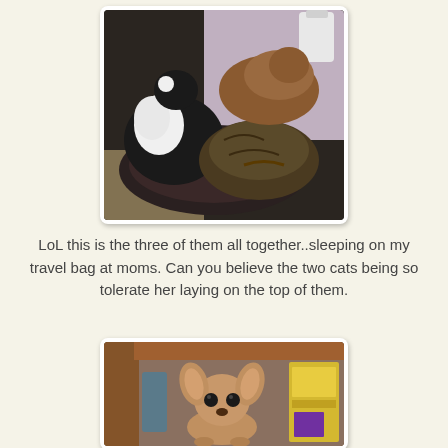[Figure (photo): Three pets — two cats and a small dog — sleeping together on a travel bag. A black-and-white cat, a tabby cat, and a small brown dog are piled on top of each other on a dark bag on the floor.]
LoL this is the three of them all together..sleeping on my travel bag at moms. Can you believe the two cats being so tolerate her laying on the top of them.
[Figure (photo): A small chihuahua dog sitting underneath a wooden shelf, looking directly at the camera, with a yellow box visible to the right.]